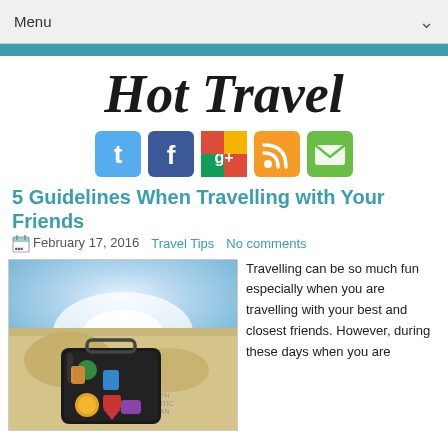Menu
Hot Travel
[Figure (illustration): Social media icons: Twitter (blue bird 't'), Facebook (dark blue 'f'), Google+ (colorful 'g+'), RSS (orange signal), Email (green envelope)]
5 Guidelines When Travelling with Your Friends
February 17, 2016   Travel Tips   No comments
[Figure (photo): Photo of a black travel suitcase covered in stickers sitting on top of a world map with a bright horizon light in background. South Atlantic Ocean visible on the map.]
Travelling can be so much fun especially when you are travelling with your best and closest friends. However, during these days when you are